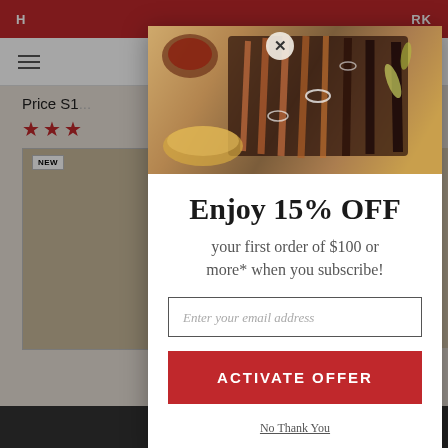H ... RK
[Figure (screenshot): Background e-commerce page showing price, star rating, product images, and navigation]
[Figure (photo): Food photo of sliced brisket on a cutting board with sauce and garnishes]
Enjoy 15% OFF
your first order of $100 or more* when you subscribe!
Enter your email address
ACTIVATE OFFER
No Thank You